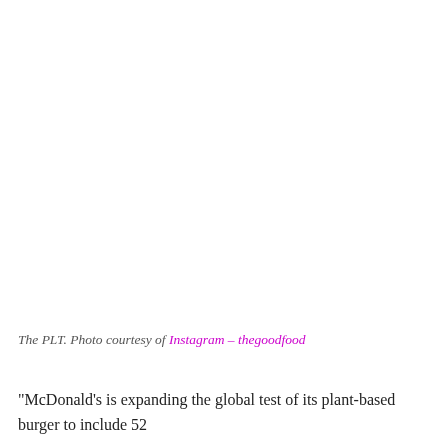[Figure (photo): Photo of the PLT plant-based burger from McDonald's. The image area appears mostly white/blank in this crop, as the photo is cut off above.]
The PLT. Photo courtesy of Instagram – thegoodfood
“McDonald’s is expanding the global test of its plant-based burger to include 52